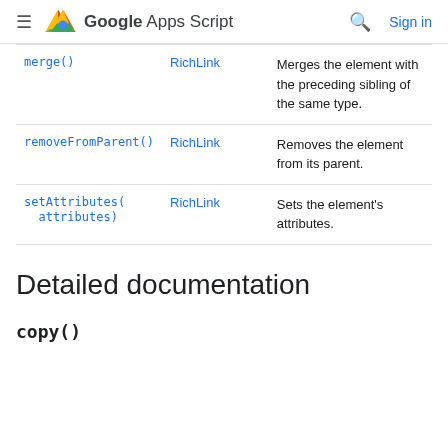Google Apps Script — Sign in
| Method | Return type | Brief description |
| --- | --- | --- |
| merge() | RichLink | Merges the element with the preceding sibling of the same type. |
| removeFromParent() | RichLink | Removes the element from its parent. |
| setAttributes(attributes) | RichLink | Sets the element's attributes. |
Detailed documentation
copy()